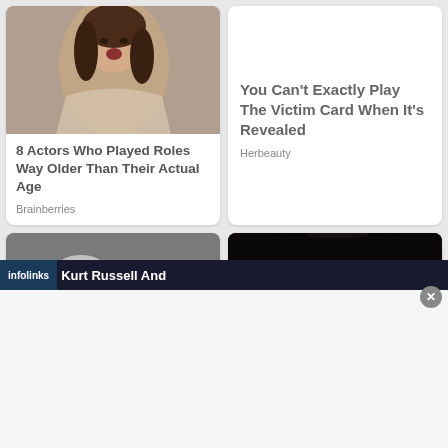[Figure (photo): Actress with mouth open, brown hair, from a film or TV show scene]
8 Actors Who Played Roles Way Older Than Their Actual Age
Brainberries
You Can't Exactly Play The Victim Card When It's Revealed
Herbeauty
[Figure (photo): Older man with gray hair and glasses next to a blonde woman, celebrity couple Kurt Russell and Goldie Hawn]
Kurt Russell And
[Figure (photo): Young Asian woman with dark straight hair, dramatic eye makeup, close-up beauty shot]
9 Gorgeous Looks
infolinks